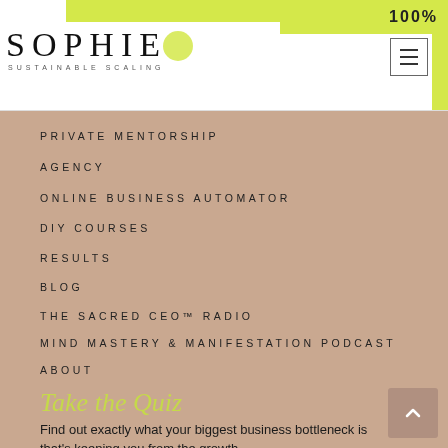SOPHIE SUSTAINABLE SCALING
PRIVATE MENTORSHIP
AGENCY
ONLINE BUSINESS AUTOMATOR
DIY COURSES
RESULTS
BLOG
THE SACRED CEO™ RADIO
MIND MASTERY & MANIFESTATION PODCAST
ABOUT
Take the Quiz
Find out exactly what your biggest business bottleneck is that's keeping you from the growth